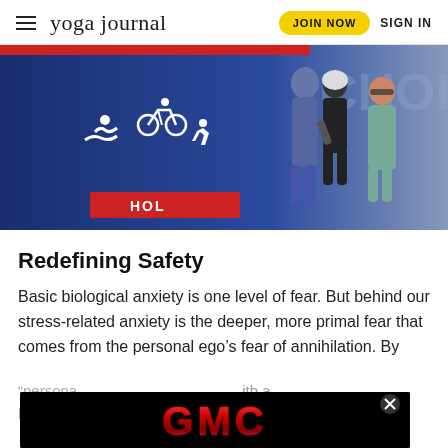yoga journal | JOIN NOW | SIGN IN
[Figure (photo): Advertisement banner showing three athletes (runner, cyclist, runner) with triathlon sport icons and a red 'HOL' label on a blue background]
Redefining Safety
Basic biological anxiety is one level of fear. But behind our stress-related anxiety is the deeper, more primal fear that comes from the personal ego's fear of annihilation. By "personal" ... with a limited ... ant
[Figure (photo): GMC advertisement banner with red metallic GMC logo text on black background with a close button (X)]